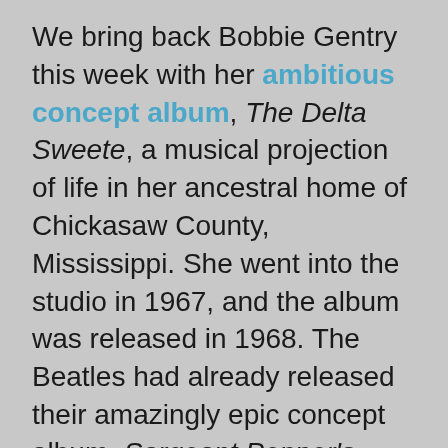We bring back Bobbie Gentry this week with her ambitious concept album, The Delta Sweete, a musical projection of life in her ancestral home of Chickasaw County, Mississippi. She went into the studio in 1967, and the album was released in 1968. The Beatles had already released their amazingly epic concept album, Sargeant Pepper's Lonely Heart's Club Band, and other artists joined in as well, including The Moody Blues, The Kinks, and The Beach Boys, to name a few. Frank Sinatra even did it in the 50s. Few understand how talented Bobbie